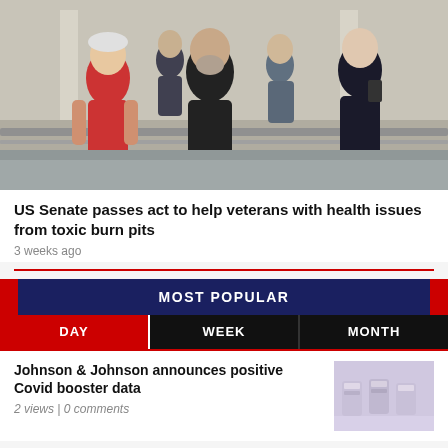[Figure (photo): Group of people walking outdoors, including a man in a red shirt with tattoos and a white cap, and a man in a black t-shirt walking together, with others around them]
US Senate passes act to help veterans with health issues from toxic burn pits
3 weeks ago
MOST POPULAR
DAY | WEEK | MONTH
Johnson & Johnson announces positive Covid booster data
2 views | 0 comments